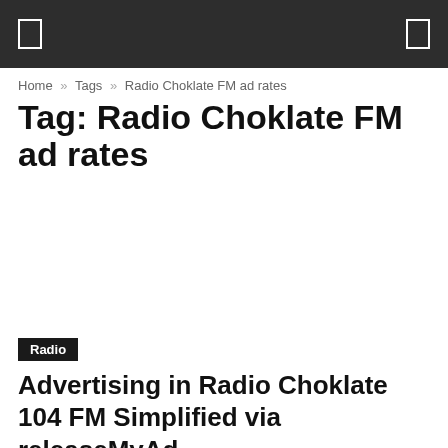Navigation bar
Home » Tags » Radio Choklate FM ad rates
Tag: Radio Choklate FM ad rates
Radio
Advertising in Radio Choklate 104 FM Simplified via releaseMyAd
- January 14, 2015
Radio Choklate, which operates on the frequency of 104 FM, is one